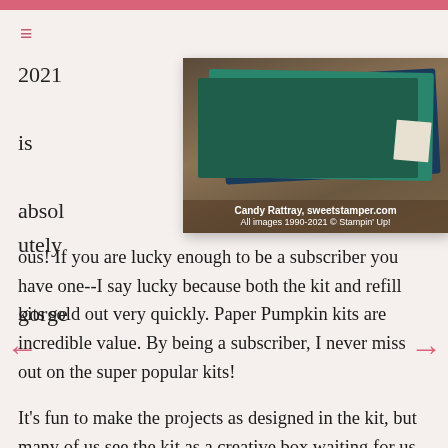≡ (hamburger menu icon)
[Figure (photo): Photo of stacked greeting cards on a wood surface. Cards appear to be navy blue, teal/green colored. Watermark text: 'Candy Rattray, sweetstamper.com / All images 1990-2021 © Stampin' Up!']
2021 is absolutely gorgeous!  If you are lucky enough to be a subscriber you have one--I say lucky because both the kit and refill kits sold out very quickly. Paper Pumpkin kits are incredible value.  By being a subscriber, I never miss out on the super popular kits!
It's fun to make the projects as designed in the kit, but many of us see the kit as a creative box waiting for us to dig in and create.  I created this Paper Pumpkin Alternative project for my weekly Simple & Stepped Up Stamping, Thursday's at 2PM CT at